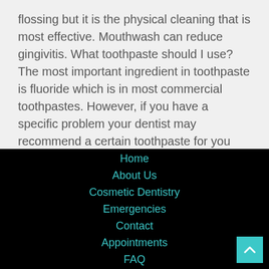flossing but it is the physical cleaning that is most effective. Mouthwash can reduce gingivitis. What toothpaste should I use? The most important ingredient in toothpaste is fluoride which is in most commercial toothpastes. However, if you have a specific problem your dentist may recommend a certain toothpaste for you (e.g. sensitive toothpaste for sensitive teeth)
Home
About Us
Cosmetic Dentistry
Emergencies
Contact
Appointments
FAQ